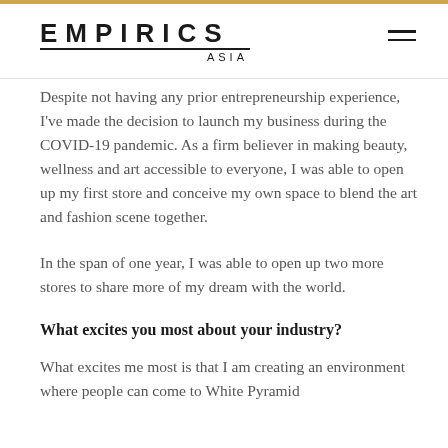EMPIRICS ASIA
Despite not having any prior entrepreneurship experience, I've made the decision to launch my business during the COVID-19 pandemic. As a firm believer in making beauty, wellness and art accessible to everyone, I was able to open up my first store and conceive my own space to blend the art and fashion scene together.
In the span of one year, I was able to open up two more stores to share more of my dream with the world.
What excites you most about your industry?
What excites me most is that I am creating an environment where people can come to White Pyramid